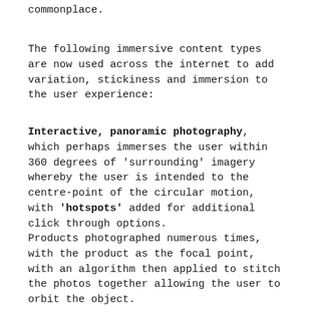commonplace.
The following immersive content types are now used across the internet to add variation, stickiness and immersion to the user experience:
Interactive, panoramic photography, which perhaps immerses the user within 360 degrees of 'surrounding' imagery whereby the user is intended to the centre-point of the circular motion, with 'hotspots' added for additional click through options.
Products photographed numerous times, with the product as the focal point, with an algorithm then applied to stitch the photos together allowing the user to orbit the object.